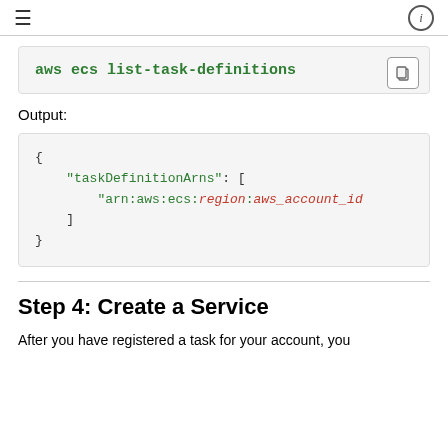≡  ⓘ
aws ecs list-task-definitions
Output:
{
    "taskDefinitionArns": [
        "arn:aws:ecs:region:aws_account_id
    ]
}
Step 4: Create a Service
After you have registered a task for your account, you